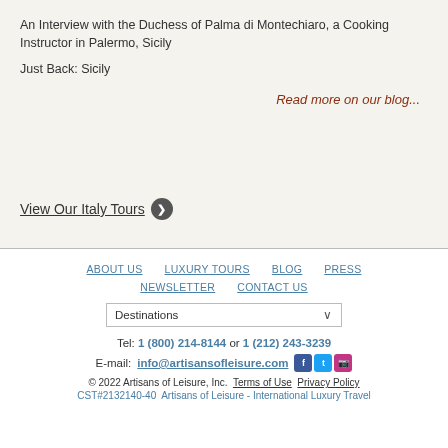An Interview with the Duchess of Palma di Montechiaro, a Cooking Instructor in Palermo, Sicily
Just Back: Sicily
Read more on our blog...
View Our Italy Tours ❯
ABOUT US  LUXURY TOURS  BLOG  PRESS  NEWSLETTER  CONTACT US
Destinations
Tel: 1 (800) 214-8144 or 1 (212) 243-3239
E-mail: info@artisansofleisure.com
© 2022 Artisans of Leisure, Inc.  Terms of Use  Privacy Policy
CST#2132140-40  Artisans of Leisure - International Luxury Travel